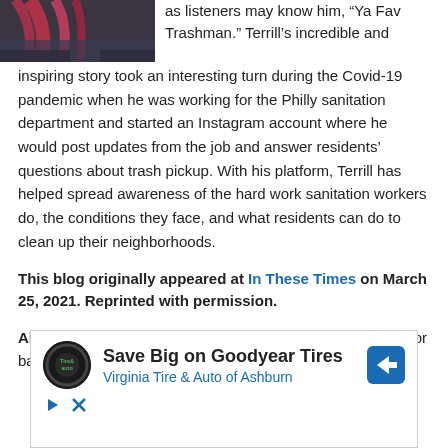[Figure (photo): Partial photo of a person with pink/red hair, cut off at the top, visible from neck/shoulder area]
as listeners may know him, “Ya Fav Trashman.” Terrill’s incredible and inspiring story took an interesting turn during the Covid-19 pandemic when he was working for the Philly sanitation department and started an Instagram account where he would post updates from the job and answer residents’ questions about trash pickup. With his platform, Terrill has helped spread awareness of the hard work sanitation workers do, the conditions they face, and what residents can do to clean up their neighborhoods.
This blog originally appeared at In These Times on March 25, 2021. Reprinted with permission.
About the Author: Maximillian Alvarez is a writer and editor based
[Figure (infographic): Advertisement for Virginia Tire & Auto of Ashburn - Save Big on Goodyear Tires. Shows a circular logo with Tire & Auto text, the ad title, blue directional arrow icon, and ad controls (play and close buttons).]